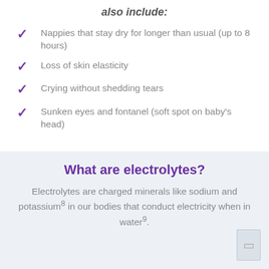also include:
Nappies that stay dry for longer than usual (up to 8 hours)
Loss of skin elasticity
Crying without shedding tears
Sunken eyes and fontanel (soft spot on baby's head)
What are electrolytes?
Electrolytes are charged minerals like sodium and potassium⁸ in our bodies that conduct electricity when in water⁹.